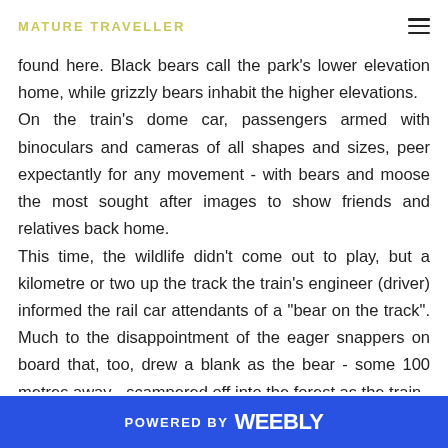MATURE TRAVELLER
found here. Black bears call the park's lower elevation home, while grizzly bears inhabit the higher elevations. On the train's dome car, passengers armed with binoculars and cameras of all shapes and sizes, peer expectantly for any movement - with bears and moose the most sought after images to show friends and relatives back home. This time, the wildlife didn't come out to play, but a kilometre or two up the track the train's engineer (driver) informed the rail car attendants of a "bear on the track". Much to the disappointment of the eager snappers on board that, too, drew a blank as the bear - some 100 metres away - scampered off into the forest as the train
POWERED BY weebly